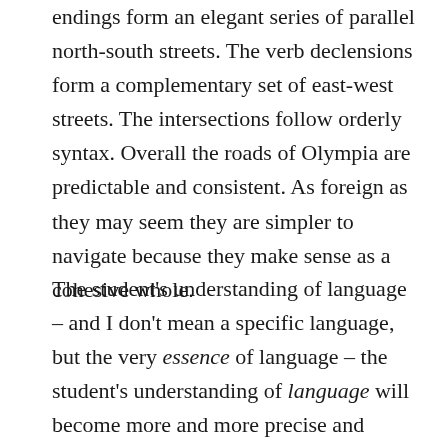endings form an elegant series of parallel north-south streets. The verb declensions form a complementary set of east-west streets. The intersections follow orderly syntax. Overall the roads of Olympia are predictable and consistent. As foreign as they may seem they are simpler to navigate because they make sense as a cohesive whole.
The student's understanding of language – and I don't mean a specific language, but the very essence of language – the student's understanding of language will become more and more precise and orderly the longer he spends navigating the streets of Olympia. Or in other words, the Greek